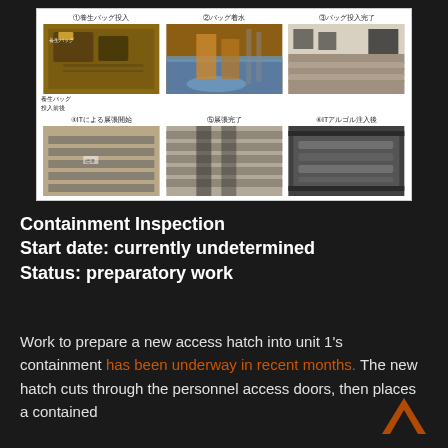[Figure (photo): Six-panel photo grid with Japanese labels showing steps of a containment bag deployment procedure: (1) 養生バッグ投入 (Insert protective bag), (2) バッグ着水 (Bag water landing), (3) バッグ投入完了 (Bag insertion complete), (4) ITによる展張開始 (Start of deployment by IT), (5) 展張完了 (Deployment complete), (6) ITアルゴル注入後 (After IT argol injection).]
Containment Inspection
Start date: currently undetermined
Status: preparatory work
Work to prepare a new access hatch into unit 1's containment has been underway in recent months. The new hatch cuts through the personnel access doors, then places a contained